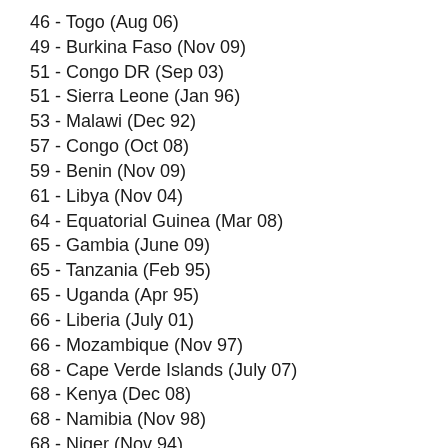46 - Togo (Aug 06)
49 - Burkina Faso (Nov 09)
51 - Congo DR (Sep 03)
51 - Sierra Leone (Jan 96)
53 - Malawi (Dec 92)
57 - Congo (Oct 08)
59 - Benin (Nov 09)
61 - Libya (Nov 04)
64 - Equatorial Guinea (Mar 08)
65 - Gambia (June 09)
65 - Tanzania (Feb 95)
65 - Uganda (Apr 95)
66 - Liberia (July 01)
66 - Mozambique (Nov 97)
68 - Cape Verde Islands (July 07)
68 - Kenya (Dec 08)
68 - Namibia (Nov 98)
68 - Niger (Nov 94)
74 - Madagascar (Dec 92)
74 - Sudan (Dec 96)
78 - Rwanda (Dec 08)
85 - Ethiopia (Dec 92)